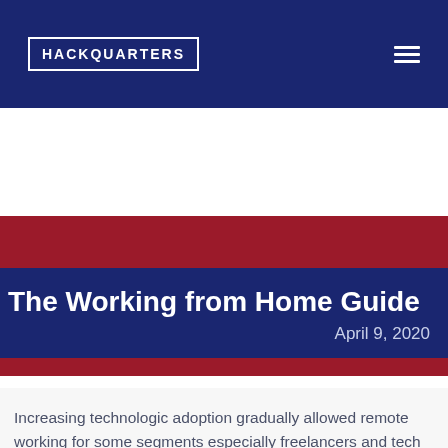HACKQUARTERS
[Figure (other): Red banner image area]
The Working from Home Guide
April 9, 2020
Increasing technologic adoption gradually allowed remote working for some segments especially freelancers and tech employees. Then COVID-19 came and forced a much wider group to work from